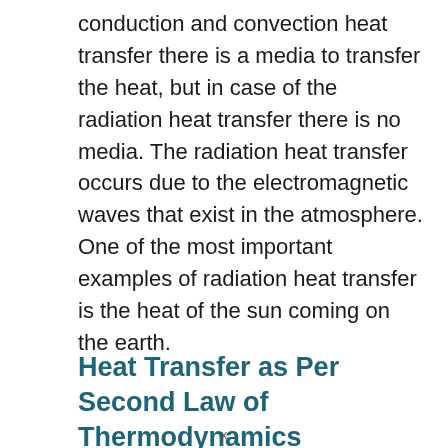conduction and convection heat transfer there is a media to transfer the heat, but in case of the radiation heat transfer there is no media. The radiation heat transfer occurs due to the electromagnetic waves that exist in the atmosphere. One of the most important examples of radiation heat transfer is the heat of the sun coming on the earth.
Heat Transfer as Per Second Law of Thermodynamics